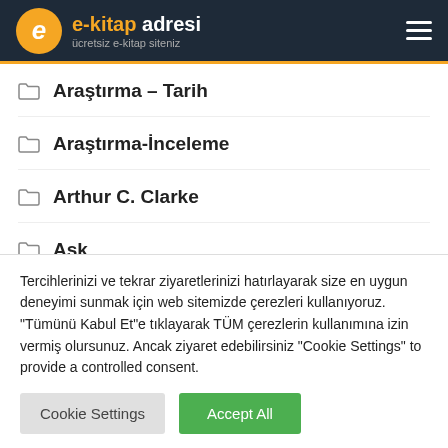e-kitap adresi – ücretsiz e-kitap siteniz
Araştırma – Tarih
Araştırma-İnceleme
Arthur C. Clarke
Aşk
Tercihlerinizi ve tekrar ziyaretlerinizi hatırlayarak size en uygun deneyimi sunmak için web sitemizde çerezleri kullanıyoruz. "Tümünü Kabul Et"e tıklayarak TÜM çerezlerin kullanımına izin vermiş olursunuz. Ancak ziyaret edebilirsiniz "Cookie Settings" to provide a controlled consent.
Cookie Settings | Accept All